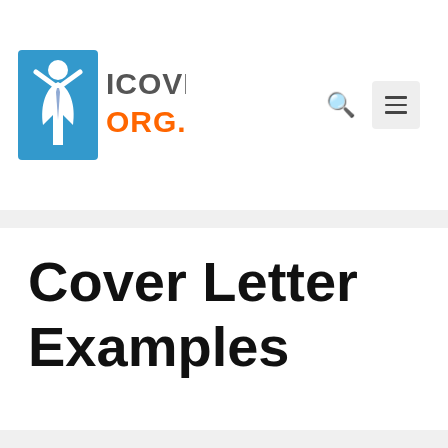icover org.uk
Cover Letter Examples